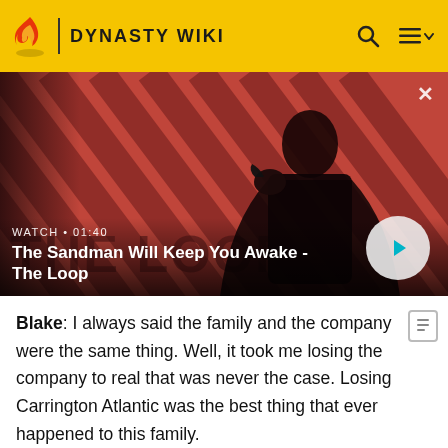DYNASTY WIKI
[Figure (screenshot): Video thumbnail showing a dark-cloaked figure with a raven on their shoulder against a red striped background. Text overlay: WATCH • 01:40, The Sandman Will Keep You Awake - The Loop]
WATCH • 01:40 — The Sandman Will Keep You Awake - The Loop
Blake: I always said the family and the company were the same thing. Well, it took me losing the company to real that was never the case. Losing Carrington Atlantic was the best thing that ever happened to this family.
Cristal to Alexis: Send a card signed: "ho ho ho." I'll know